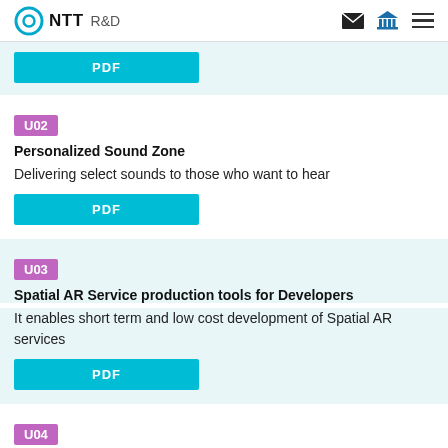NTT R&D
PDF
U02
Personalized Sound Zone
Delivering select sounds to those who want to hear
PDF
U03
Spatial AR Service production tools for Developers
It enables short term and low cost development of Spatial AR services
PDF
U04
New UI/UX created by IOWN